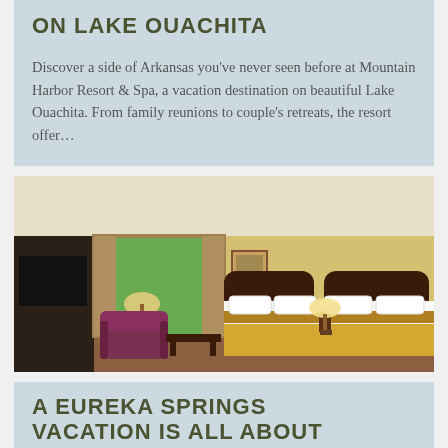ON LAKE OUACHITA
Discover a side of Arkansas you've never seen before at Mountain Harbor Resort & Spa, a vacation destination on beautiful Lake Ouachita. From family reunions to couple's retreats, the resort offer…
[Figure (photo): Hotel room with two queen beds, warm lighting, wooden headboards, a lamp on the nightstand, armchair, TV, and a sliding door to a balcony with trees visible outside.]
A EUREKA SPRINGS VACATION IS ALL ABOUT